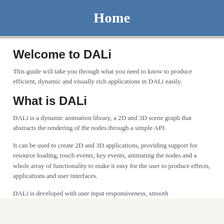Home
Welcome to DALi
This guide will take you through what you need to know to produce efficient, dynamic and visually rich applications in DALi easily.
What is DALi
DALi is a dynamic animation library, a 2D and 3D scene graph that abstracts the rendering of the nodes through a simple API.
It can be used to create 2D and 3D applications, providing support for resource loading, touch events, key events, animating the nodes and a whole array of functionality to make it easy for the user to produce effects, applications and user interfaces.
DALi is developed with user input responsiveness, smooth